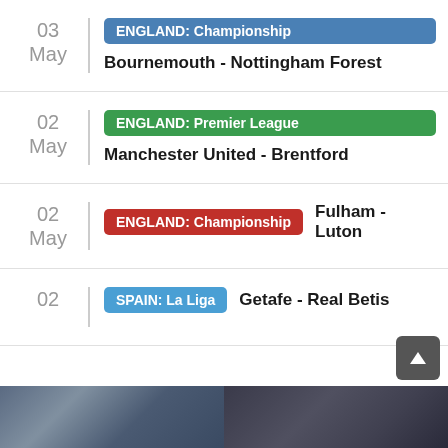03 May | ENGLAND: Championship | Bournemouth - Nottingham Forest
02 May | ENGLAND: Premier League | Manchester United - Brentford
02 May | ENGLAND: Championship | Fulham - Luton
02 May | SPAIN: La Liga | Getafe - Real Betis
[Figure (photo): Photo strip of football players at the bottom of the page]